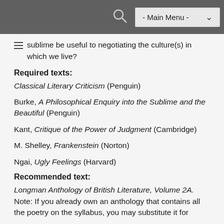- Main Menu -
sublime be useful to negotiating the culture(s) in which we live?
Required texts:
Classical Literary Criticism (Penguin)
Burke, A Philosophical Enquiry into the Sublime and the Beautiful (Penguin)
Kant, Critique of the Power of Judgment (Cambridge)
M. Shelley, Frankenstein (Norton)
Ngai, Ugly Feelings (Harvard)
Recommended text:
Longman Anthology of British Literature, Volume 2A. Note: If you already own an anthology that contains all the poetry on the syllabus, you may substitute it for